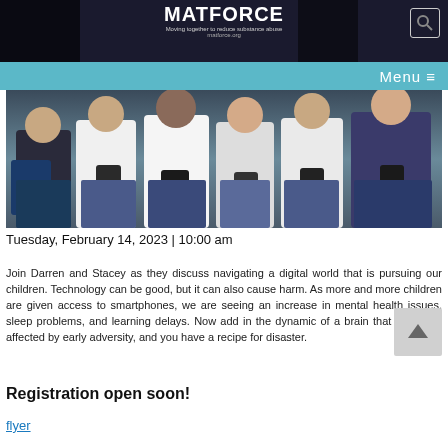[Figure (screenshot): MATFORCE website header with logo, tagline, search icon, and teal navigation bar showing Menu]
[Figure (photo): Group of young people sitting and looking at smartphones]
Tuesday, February 14, 2023 | 10:00 am
Join Darren and Stacey as they discuss navigating a digital world that is pursuing our children. Technology can be good, but it can also cause harm. As more and more children are given access to smartphones, we are seeing an increase in mental health issues, sleep problems, and learning delays. Now add in the dynamic of a brain that has been affected by early adversity, and you have a recipe for disaster.
Registration open soon!
flyer